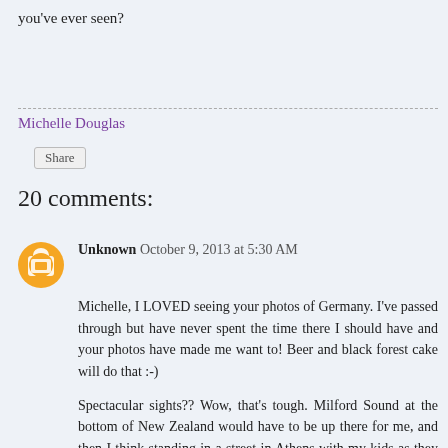you've ever seen?
Michelle Douglas
Share
20 comments:
Unknown  October 9, 2013 at 5:30 AM
Michelle, I LOVED seeing your photos of Germany. I've passed through but have never spent the time there I should have and your photos have made me want to! Beer and black forest cake will do that :-)
Spectacular sights?? Wow, that's tough. Milford Sound at the bottom of New Zealand would have to be up there for me, and then I think standing in a street in Athens with my kids as they had their first view of The Parthenon, peeking between the